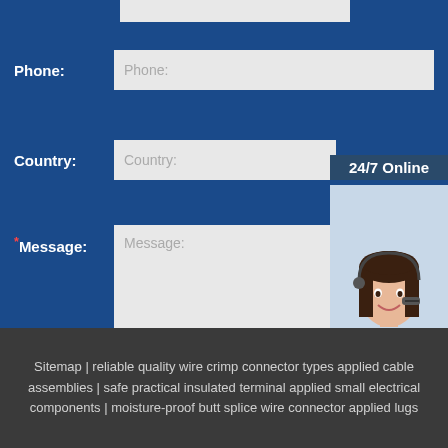Phone:
Phone:
Country:
Country:
24/7 Online
*Message:
Message:
[Figure (photo): Customer service representative woman with headset smiling]
Click here for free chat !
Submit Now
QUOTATION
Sitemap | reliable quality wire crimp connector types applied cable assemblies | safe practical insulated terminal applied small electrical components | moisture-proof butt splice wire connector applied lugs